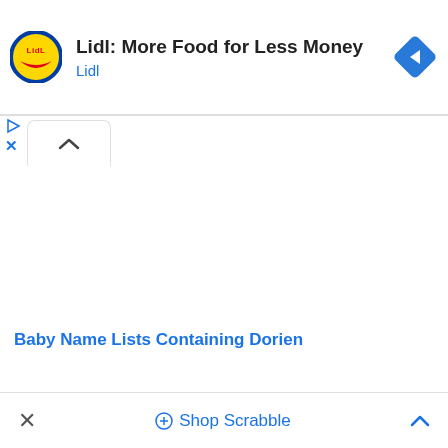[Figure (logo): Lidl circular logo with yellow background, blue circle border, red lettering LIDL]
Lidl: More Food for Less Money
Lidl
[Figure (other): Blue diamond navigation arrow icon pointing right]
[Figure (other): Play button triangle icon (blue outline)]
[Figure (other): X close icon (blue)]
[Figure (other): Collapse/chevron-up tab button]
Baby Name Lists Containing Dorien
Shop Scrabble